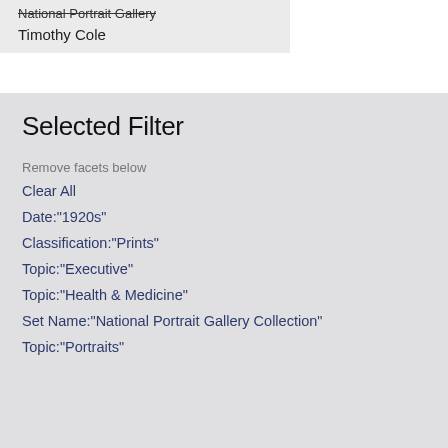National Portrait Gallery
Timothy Cole
Selected Filter
Remove facets below
Clear All
Date:"1920s"
Classification:"Prints"
Topic:"Executive"
Topic:"Health & Medicine"
Set Name:"National Portrait Gallery Collection"
Topic:"Portraits"